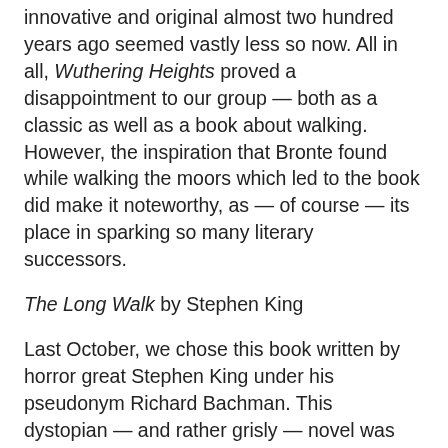innovative and original almost two hundred years ago seemed vastly less so now. All in all, Wuthering Heights proved a disappointment to our group — both as a classic as well as a book about walking. However, the inspiration that Bronte found while walking the moors which led to the book did make it noteworthy, as — of course — its place in sparking so many literary successors.
The Long Walk by Stephen King
Last October, we chose this book written by horror great Stephen King under his pseudonym Richard Bachman. This dystopian — and rather grisly — novel was most certainly a book about walking. The whole book is quite literally one long walk — sparking some lively conversations among our walkers about shoes, socks, and the ability to walk without